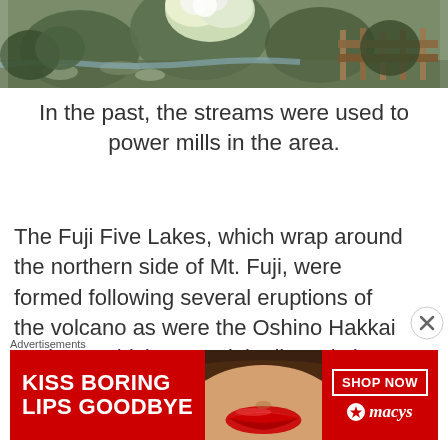[Figure (photo): Outdoor garden scene with green bushes, flowering white plants, a stream/path, and a wooden fence in the background]
In the past, the streams were used to power mills in the area.
The Fuji Five Lakes, which wrap around the northern side of Mt. Fuji, were formed following several eruptions of the volcano as were the Oshino Hakkai Springs, which was originally a sixth lake that dried up
[Figure (illustration): Advertisement banner: KISS BORING LIPS GOODBYE - SHOP NOW - macys]
Advertisements